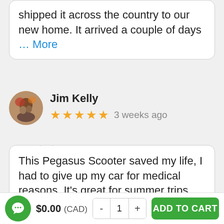shipped it across the country to our new home. It arrived a couple of days … More
Jim Kelly
★★★★★ 3 weeks ago
This Pegasus Scooter saved my life, I had to give up my car for medical reasons. It's great for summer trips around the parks here in Pembroke. I just love my Pegasus Scooter! Scooter Country is the place to buy a awesome Scooter. More
$0.00 (CAD)
ADD TO CART